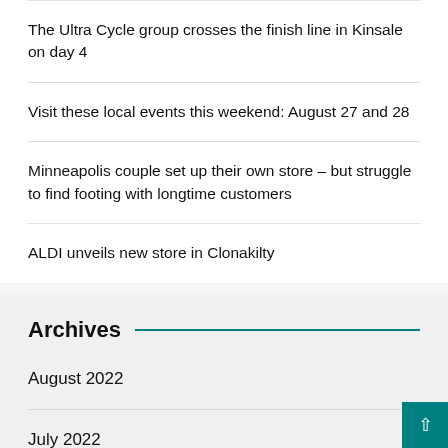The Ultra Cycle group crosses the finish line in Kinsale on day 4
Visit these local events this weekend: August 27 and 28
Minneapolis couple set up their own store – but struggle to find footing with longtime customers
ALDI unveils new store in Clonakilty
Archives
August 2022
July 2022
June 2022